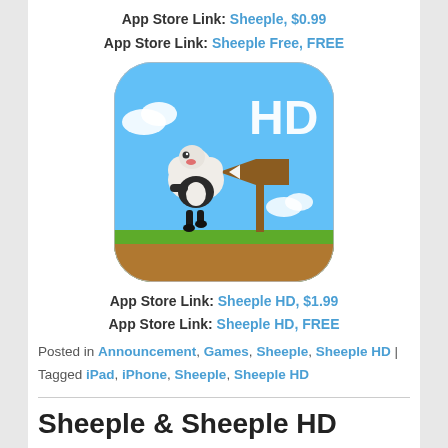App Store Link: Sheeple, $0.99
App Store Link: Sheeple Free, FREE
[Figure (screenshot): Sheeple HD app icon showing a cartoon sheep character in a maid outfit running, with a wooden directional sign and HD logo on a blue sky background with green hills]
App Store Link: Sheeple HD, $1.99
App Store Link: Sheeple HD, FREE
Posted in Announcement, Games, Sheeple, Sheeple HD | Tagged iPad, iPhone, Sheeple, Sheeple HD
Sheeple & Sheeple HD Updates Now Available